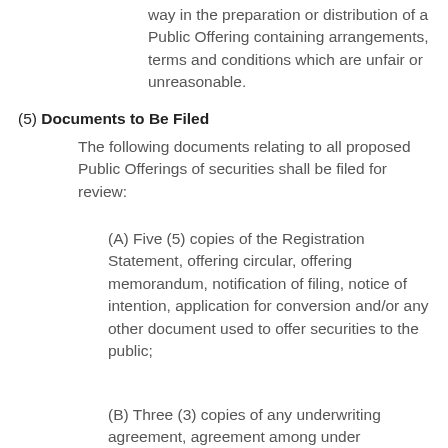way in the preparation or distribution of a Public Offering containing arrangements, terms and conditions which are unfair or unreasonable.
(5) Documents to Be Filed
The following documents relating to all proposed Public Offerings of securities shall be filed for review:
(A) Five (5) copies of the Registration Statement, offering circular, offering memorandum, notification of filing, notice of intention, application for conversion and/or any other document used to offer securities to the public;
(B) Three (3) copies of any underwriting agreement, agreement among under